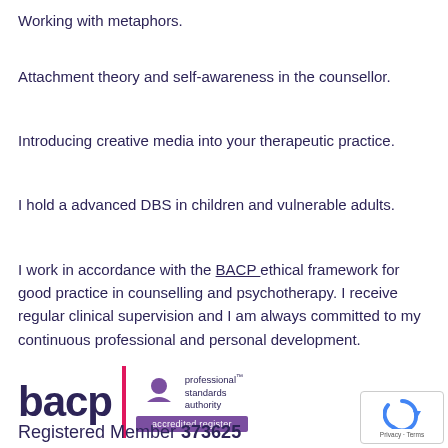Working with metaphors.
Attachment theory and self-awareness in the counsellor.
Introducing creative media into your therapeutic practice.
I hold a advanced DBS in children and vulnerable adults.
I work in accordance with the BACP ethical framework for good practice in counselling and psychotherapy. I receive regular clinical supervision and I am always committed to my continuous professional and personal development.
[Figure (logo): BACP (British Association for Counselling and Psychotherapy) logo with Professional Standards Authority accredited register badge]
Registered Member 373625